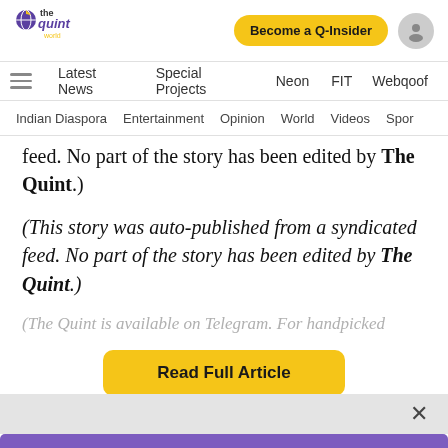[Figure (logo): The Quint World logo — stylized globe icon with purple/yellow colors and text 'the quint world']
Become a Q-Insider
Latest News  Special Projects  Neon  FIT  Webqoof
Indian Diaspora  Entertainment  Opinion  World  Videos  Spor
feed. No part of the story has been edited by The Quint.)
(This story was auto-published from a syndicated feed. No part of the story has been edited by The Quint.)
(The Quint is available on Telegram. For handpicked
Read Full Article